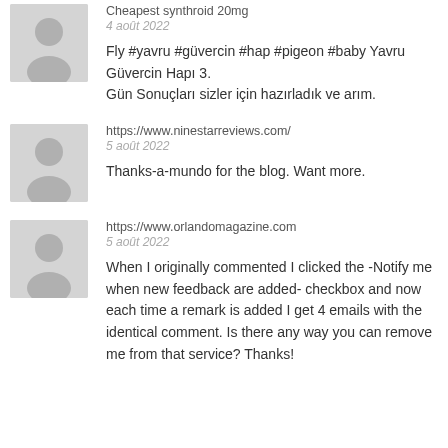Cheapest synthroid 20mg
4 août 2022
Fly #yavru #güvercin #hap #pigeon #baby Yavru Güvercin Hapı 3.
Gün Sonuçları sizler için hazırladık ve arım.
https://www.ninestarreviews.com/
5 août 2022
Thanks-a-mundo for the blog. Want more.
https://www.orlandomagazine.com
5 août 2022
When I originally commented I clicked the -Notify me when new feedback are added- checkbox and now each time a remark is added I get 4 emails with the identical comment. Is there any way you can remove me from that service? Thanks!